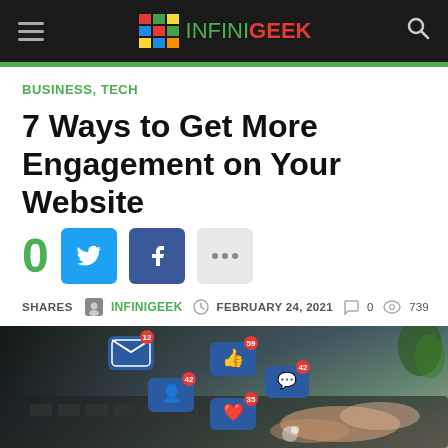INFINIGEEK navigation header
BUSINESS, TECH
7 Ways to Get More Engagement on Your Website
0 SHARES | INFINIGEEK | FEBRUARY 24, 2021 | 0 comments | 739 views
[Figure (photo): Person typing on keyboard with floating social media engagement notification icons (email, likes, comments, followers) illustrated in blue]